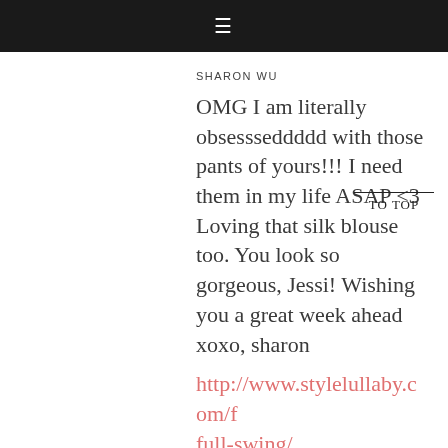☰
SHARON WU
OMG I am literally obsessseddddd with those pants of yours!!! I need them in my life ASAP <3 Loving that silk blouse too. You look so gorgeous, Jessi! Wishing you a great week ahead xoxo, sharon
http://www.stylelullaby.com/f full-swing/
OCTOBER 10, 2016 AT 11:43 AM